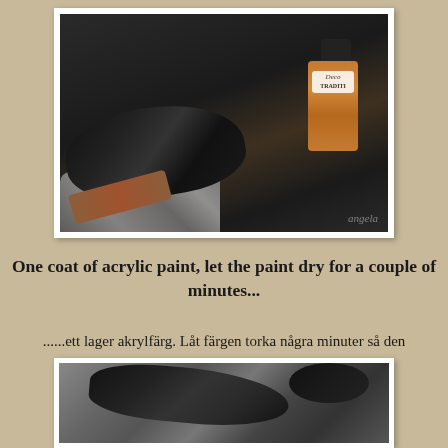[Figure (photo): A paintbrush heavily coated with black acrylic paint being applied to a surface, with a bottle of Deco Traditional acrylic paint visible in the background on the right side. The brush has a wooden/brown handle and the bristles are saturated with dark black paint.]
One coat of acrylic paint, let the paint dry for a couple of minutes...
......ett lager akrylfärg. Låt färgen torka några minuter så den hinner "sätta sig"
en aning.....
[Figure (photo): Close-up photo showing black acrylic paint applied to a textured surface, revealing a dark glossy painted finish on what appears to be a crinkled or metallic surface.]